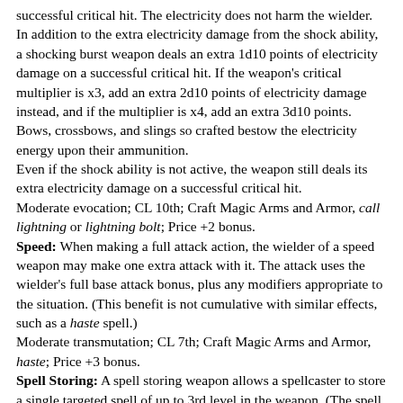successful critical hit. The electricity does not harm the wielder. In addition to the extra electricity damage from the shock ability, a shocking burst weapon deals an extra 1d10 points of electricity damage on a successful critical hit. If the weapon's critical multiplier is x3, add an extra 2d10 points of electricity damage instead, and if the multiplier is x4, add an extra 3d10 points. Bows, crossbows, and slings so crafted bestow the electricity energy upon their ammunition.
Even if the shock ability is not active, the weapon still deals its extra electricity damage on a successful critical hit.
Moderate evocation; CL 10th; Craft Magic Arms and Armor, call lightning or lightning bolt; Price +2 bonus.
Speed: When making a full attack action, the wielder of a speed weapon may make one extra attack with it. The attack uses the wielder's full base attack bonus, plus any modifiers appropriate to the situation. (This benefit is not cumulative with similar effects, such as a haste spell.)
Moderate transmutation; CL 7th; Craft Magic Arms and Armor, haste; Price +3 bonus.
Spell Storing: A spell storing weapon allows a spellcaster to store a single targeted spell of up to 3rd level in the weapon. (The spell must have a casting time of 1 standard action.) Any time the weapon strikes a creature and the creature takes damage from it, the weapon can immediately cast the spell on that creature as a free action if the wielder desires. (This special ability is an exception to